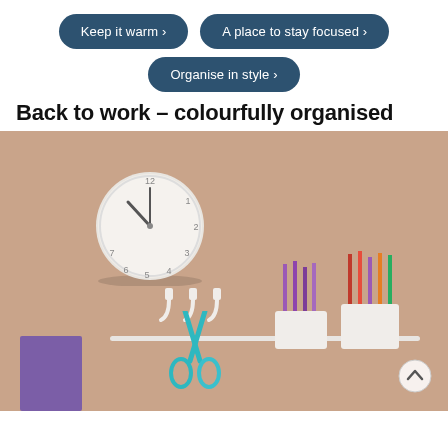Keep it warm ›
A place to stay focused ›
Organise in style ›
Back to work – colourfully organised
[Figure (photo): Wall-mounted clock on a warm brown/beige wall, with a white rail below holding hooks with scissors and two white pencil cups filled with coloured pencils. A purple folder/book sits at bottom left.]